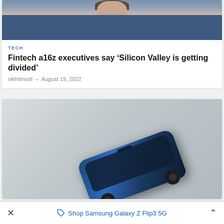[Figure (photo): Photo of a person wearing a blue quilted jacket, upper body and face visible, cropped at top]
TECH
Fintech a16z executives say ‘Silicon Valley is getting divided’
nikhilmodi - August 19, 2022
[Figure (photo): Overhead/top-down photo of a blue Samsung Galaxy Z Flip3 5G phone placed on a light grey surface, shot from above at an angle]
×   Shop Samsung Galaxy Z Flip3 5G   ∧